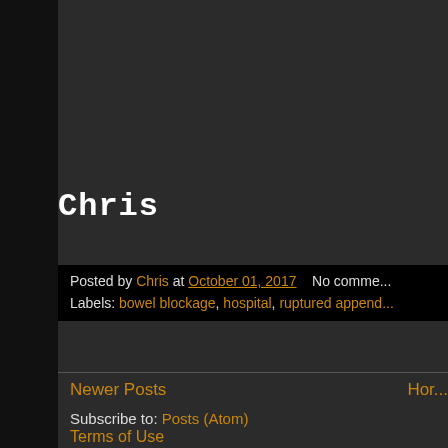Chris
Posted by Chris at October 01, 2017   No comme...
Labels: bowel blockage, hospital, ruptured append...
Newer Posts
Hor...
Subscribe to: Posts (Atom)
Terms of Use